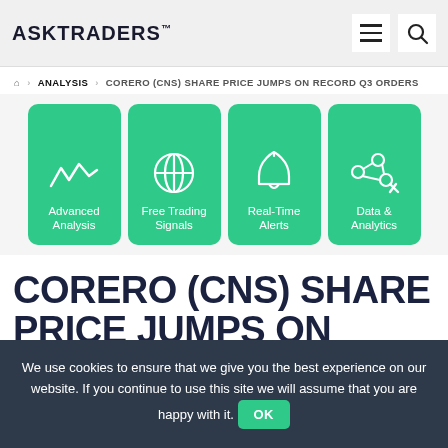ASKTRADERS™
🏠 › ANALYSIS › CORERO (CNS) SHARE PRICE JUMPS ON RECORD Q3 ORDERS
[Figure (infographic): Four green feature cards: Advanced Analysis (waveform icon), Free Trading Signals (globe icon), Real-Time Alerts (bell icon), Data & Analytics (network/analysis icon)]
CORERO (CNS) SHARE PRICE JUMPS ON RECORD Q3 ORDERS
We use cookies to ensure that we give you the best experience on our website. If you continue to use this site we will assume that you are happy with it. OK